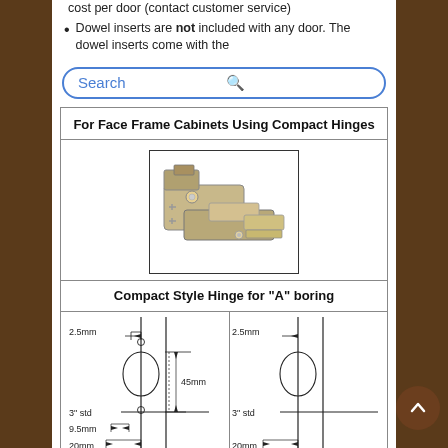cost per door (contact customer service)
Dowel inserts are not included with any door. The dowel inserts come with the
[Figure (screenshot): Search bar with blue border and magnifying glass icon]
| For Face Frame Cabinets Using Compact Hinges |
| --- |
[Figure (photo): Photo of a compact style cabinet hinge for 'A' boring]
Compact Style Hinge for "A" boring
[Figure (engineering-diagram): Left engineering diagram showing hinge boring dimensions: 2.5mm, 45mm, 3 std, 9.5mm, 20mm with circle cutout and mounting holes]
[Figure (engineering-diagram): Right engineering diagram showing hinge boring dimensions: 2.5mm, 3 std, 20mm with circle cutout]